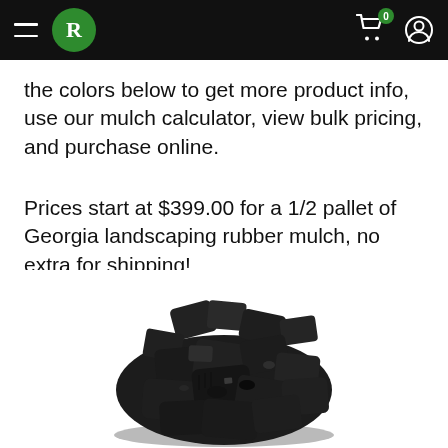R (logo) | navigation bar with hamburger menu, cart (0), and user icon
the colors below to get more product info, use our mulch calculator, view bulk pricing, and purchase online.
Prices start at $399.00 for a 1/2 pallet of Georgia landscaping rubber mulch, no extra for shipping!
[Figure (photo): A pile of black rubber mulch chunks on a white background]